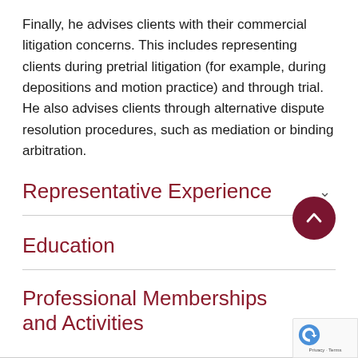Finally, he advises clients with their commercial litigation concerns. This includes representing clients during pretrial litigation (for example, during depositions and motion practice) and through trial. He also advises clients through alternative dispute resolution procedures, such as mediation or binding arbitration.
Representative Experience
Education
Professional Memberships and Activities